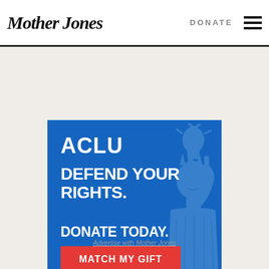Mother Jones | DONATE
[Figure (advertisement): ACLU advertisement on blue background with Statue of Liberty torch illustration. Text reads: ACLU, DEFEND YOUR RIGHTS. DONATE TODAY. with a red button labeled MATCH MY GIFT]
Advertise with Mother Jones